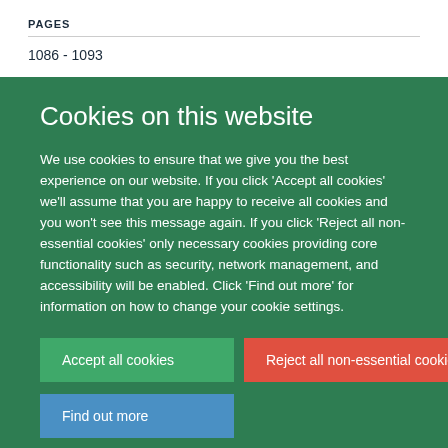PAGES
1086 - 1093
Cookies on this website
We use cookies to ensure that we give you the best experience on our website. If you click 'Accept all cookies' we'll assume that you are happy to receive all cookies and you won't see this message again. If you click 'Reject all non-essential cookies' only necessary cookies providing core functionality such as security, network management, and accessibility will be enabled. Click 'Find out more' for information on how to change your cookie settings.
Accept all cookies
Reject all non-essential cookies
Find out more